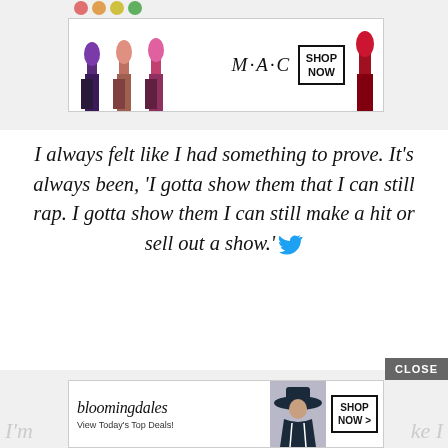[Figure (advertisement): MAC Cosmetics banner ad showing colorful lipsticks on left, MAC logo in center italic text, SHOP NOW box on right, red lipstick on far right]
I always felt like I had something to prove. It’s always been, ‘I gotta show them that I can still rap. I gotta show them I can still make a hit or sell out a show.’ [Twitter bird icon]
[Figure (advertisement): Bloomingdale's banner ad showing bloomingdales script logo, View Today's Top Deals! text, model in hat, SHOP NOW > button]